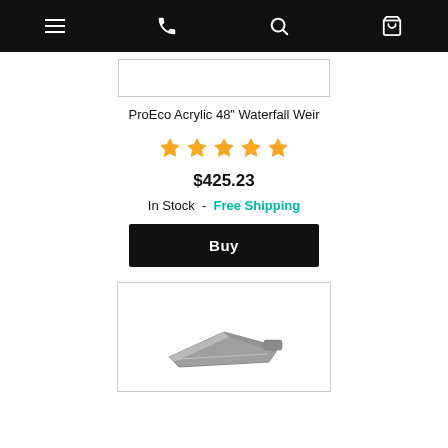Navigation bar with menu, phone, search, and cart icons
[Figure (other): Partial product image (top) cropped at top]
ProEco Acrylic 48" Waterfall Weir
[Figure (other): 5-star rating displayed in gold/orange stars]
$425.23
In Stock  -  Free Shipping
Buy
[Figure (photo): ProEco Acrylic 48 inch Waterfall Weir product photo showing a grey angular weir device]